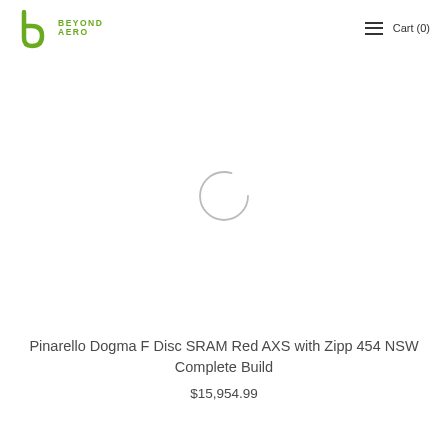BEYOND AERO | Cart (0)
[Figure (other): Loading spinner circle indicating product image is loading]
Pinarello Dogma F Disc SRAM Red AXS with Zipp 454 NSW Complete Build
$15,954.99